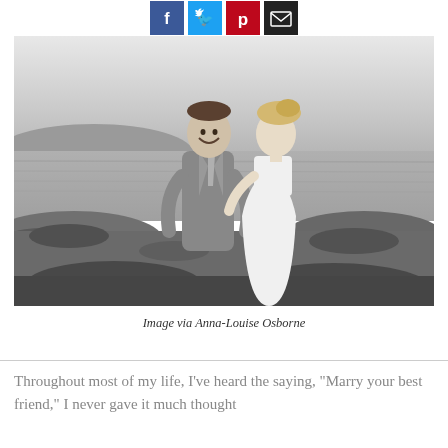[Figure (other): Social share buttons row: Facebook (blue), Twitter (light blue), Pinterest (red), Email/share (black)]
[Figure (photo): Black and white wedding photo of a smiling groom in a suit embracing a bride in a strapless wedding dress on a rocky beach with water in the background]
Image via Anna-Louise Osborne
Throughout most of my life, I've heard the saying, "Marry your best friend," I never gave it much thought